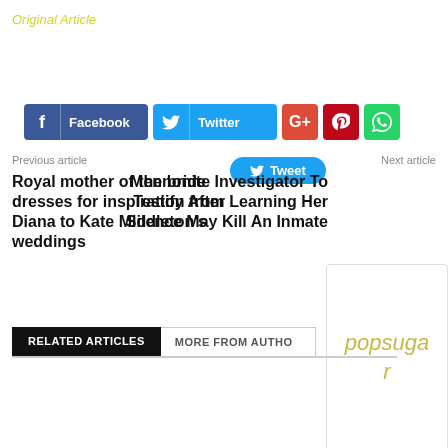Original Article
[Figure (screenshot): Social share buttons: Facebook, Twitter, Google+, Pinterest, WhatsApp, and Tweet button]
Previous article
Next article
Royal mother of the bride dresses for inspiration from Diana to Kate Middleton’s weddings
Mennonite Investigator To Testify After Learning Her Silence May Kill An Inmate
RELATED ARTICLES   MORE FROM AUTHOR
popsugar